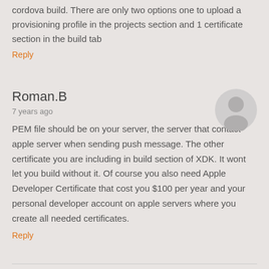cordova build. There are only two options one to upload a provisioning profile in the projects section and 1 certificate section in the build tab
Reply
Roman.B
7 years ago
[Figure (illustration): Generic user avatar circle with silhouette icon in gray]
PEM file should be on your server, the server that contact apple server when sending push message. The other certificate you are including in build section of XDK. It wont let you build without it. Of course you also need Apple Developer Certificate that cost you $100 per year and your personal developer account on apple servers where you create all needed certificates.
Reply